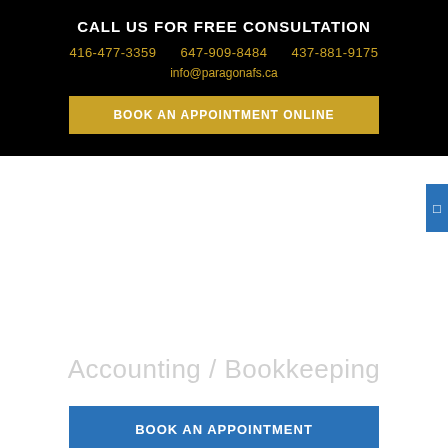CALL US FOR FREE CONSULTATION
416-477-3359   647-909-8484   437-881-9175
info@paragonafs.ca
BOOK AN APPOINTMENT ONLINE
Accounting / Bookkeeping
BOOK AN APPOINTMENT